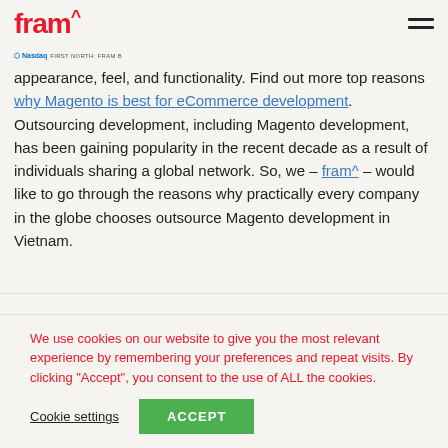fram^
appearance, feel, and functionality. Find out more top reasons why Magento is best for eCommerce development. Outsourcing development, including Magento development, has been gaining popularity in the recent decade as a result of individuals sharing a global network. So, we – fram^ – would like to go through the reasons why practically every company in the globe chooses outsource Magento development in Vietnam.
We use cookies on our website to give you the most relevant experience by remembering your preferences and repeat visits. By clicking "Accept", you consent to the use of ALL the cookies.
Cookie settings  ACCEPT